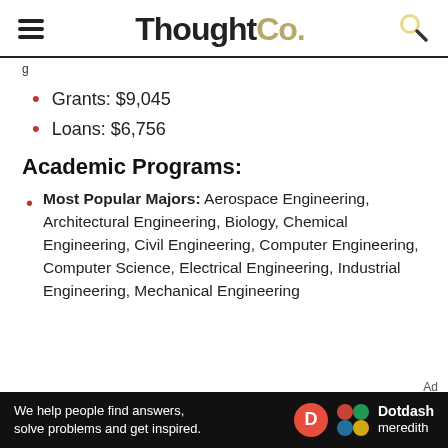ThoughtCo.
Grants: $9,045
Loans: $6,756
Academic Programs:
Most Popular Majors: Aerospace Engineering, Architectural Engineering, Biology, Chemical Engineering, Civil Engineering, Computer Engineering, Computer Science, Electrical Engineering, Industrial Engineering, Mechanical Engineering